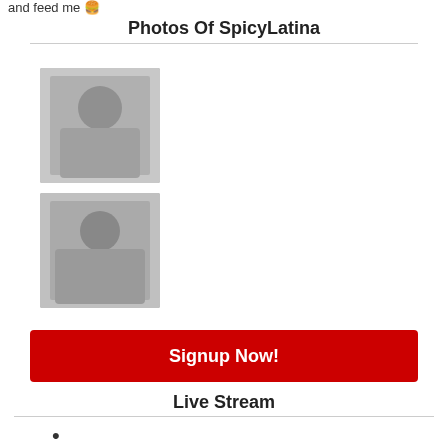and feed me 🍔
Photos Of SpicyLatina
[Figure (photo): Blurred black and white photo 1]
[Figure (photo): Blurred black and white photo 2]
Signup Now!
Live Stream
[Figure (photo): Blurred photo of Alondra]
Alondra
fwb ...